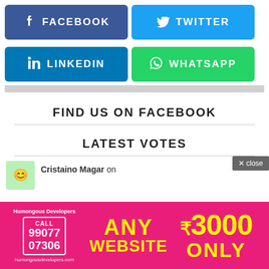[Figure (screenshot): Social sharing buttons: Facebook (dark blue), Twitter (light blue), LinkedIn (medium blue), WhatsApp (green)]
FIND US ON FACEBOOK
LATEST VOTES
Cristaino Magar on
[Figure (infographic): Advertisement banner: Humongous Developers, CALL 99077 07306, humongousdevelopers.com, ANY WEBSITE ₹3000 ONLY]